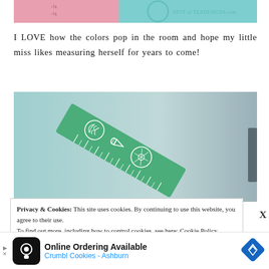[Figure (photo): Top portion of a blog image showing a pink and teal background with a ruler/measuring chart, watermark reading SPOT of TEADESIGNS.com]
I LOVE how the colors pop in the room and hope my little miss likes measuring herself for years to come!
[Figure (photo): Close-up photo of a green ruler with white shell and sea creature illustrations on a teal/grey background]
Privacy & Cookies: This site uses cookies. By continuing to use this website, you agree to their use.
To find out more, including how to control cookies, see here: Cookie Policy
[Figure (infographic): Advertisement banner: Online Ordering Available - Crumbl Cookies - Ashburn, with navigation arrows and diamond logo]